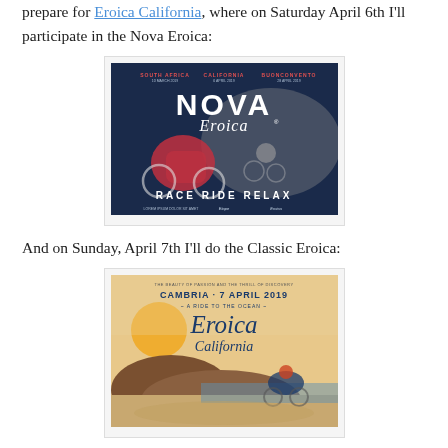prepare for Eroica California, where on Saturday April 6th I'll participate in the Nova Eroica:
[Figure (illustration): Nova Eroica event poster. Dark blue background with cyclists racing. Text reads: SOUTH AFRICA, CALIFORNIA, BUONCONVENTO across top. Large text NOVA Eroica in center. Bottom text: RACE RIDE RELAX.]
And on Sunday, April 7th I'll do the Classic Eroica:
[Figure (illustration): Eroica California event poster. Warm orange/tan background with a cyclist and coastal scenery. Text reads: CAMBRIA · 7 APRIL 2019 · A RIDE TO THE OCEAN · Eroica California.]